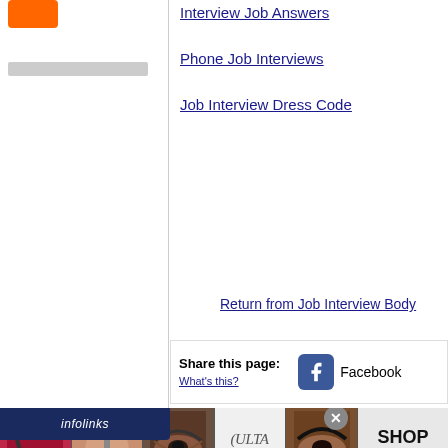[Figure (logo): Orange logo icon in top left of sidebar]
Interview Job Answers
Phone Job Interviews
Job Interview Dress Code
Return from Job Interview Body
Share this page: What's this? Facebook
[Figure (infographic): Infolinks ad banner with makeup/beauty images and ULTA beauty logo and SHOP NOW button]